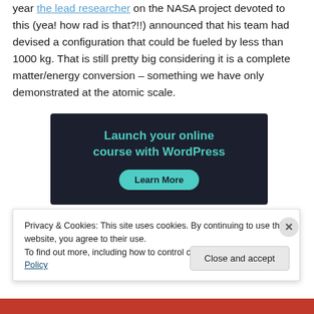year the lead researcher on the NASA project devoted to this (yea! how rad is that?!!) announced that his team had devised a configuration that could be fueled by less than 1000 kg. That is still pretty big considering it is a complete matter/energy conversion – something we have only demonstrated at the atomic scale.
[Figure (other): Advertisement banner with dark background reading 'Launch your online course with WordPress' with a teal 'Learn More' button]
Privacy & Cookies: This site uses cookies. By continuing to use this website, you agree to their use.
To find out more, including how to control cookies, see here: Cookie Policy
Close and accept